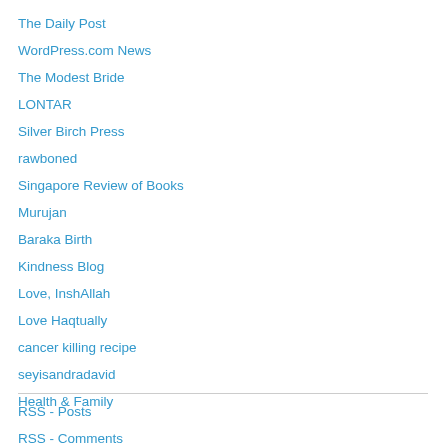The Daily Post
WordPress.com News
The Modest Bride
LONTAR
Silver Birch Press
rawboned
Singapore Review of Books
Murujan
Baraka Birth
Kindness Blog
Love, InshAllah
Love Haqtually
cancer killing recipe
seyisandradavid
Health & Family
RSS - Posts
RSS - Comments